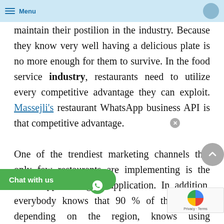Menu
marketing channels to penetrate or even maintain their postilion in the industry. Because they know very well having a delicious plate is no more enough for them to survive. In the food service industry, restaurants need to utilize every competitive advantage they can exploit. Massejli's restaurant WhatsApp business API is that competitive advantage.

One of the trendiest marketing channels that only few restaurants are implementing is the WhatsApp messaging application. In addition, everybody knows that 90 % of the people, depending on the region, knows using this application. Therefore missing the chance to engage with your audience through WhatsApp will cost the business a great competitive direction.